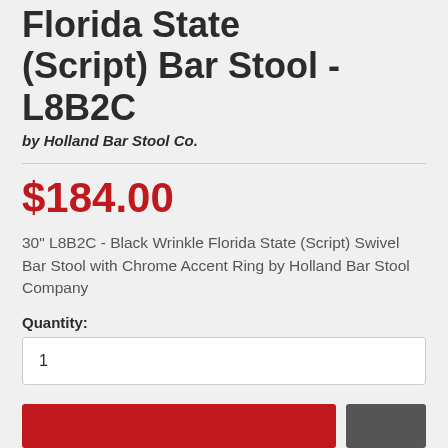Florida State (Script) Bar Stool - L8B2C
by Holland Bar Stool Co.
$184.00
30" L8B2C - Black Wrinkle Florida State (Script) Swivel Bar Stool with Chrome Accent Ring by Holland Bar Stool Company
Quantity:
1